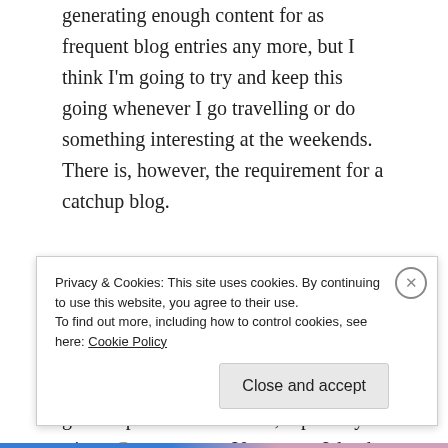generating enough content for as frequent blog entries any more, but I think I'm going to try and keep this going whenever I go travelling or do something interesting at the weekends. There is, however, the requirement for a catchup blog.

So I'm working hard in my new job in EMR (remember, I keep work anonymous on this, it's a personal endeavour for me. Been putting quite a bit into this job, been giving me some great experiences however, especially a trip to Courtenay, on Vancouver Island, towards the end of last year. My decision on my
Privacy & Cookies: This site uses cookies. By continuing to use this website, you agree to their use.
To find out more, including how to control cookies, see here: Cookie Policy
Close and accept